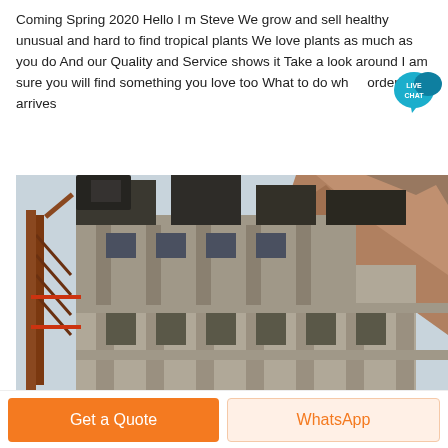Coming Spring 2020 Hello I m Steve We grow and sell healthy unusual and hard to find tropical plants We love plants as much as you do And our Quality and Service shows it Take a look around I am sure you will find something you love too What to do wh... order arrives
[Figure (photo): A large concrete building under construction with industrial machinery on top, set against a rocky hillside. The structure shows exposed concrete columns and beams with dark industrial equipment and a metal staircase on the left side.]